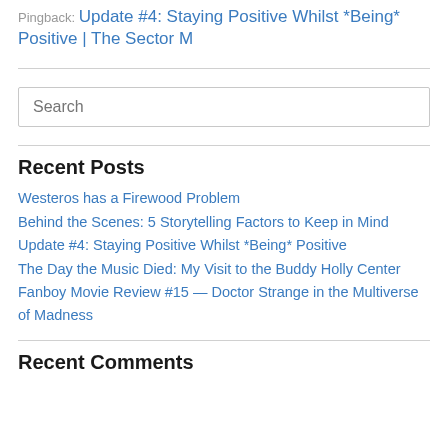Pingback: Update #4: Staying Positive Whilst *Being* Positive | The Sector M
Search
Recent Posts
Westeros has a Firewood Problem
Behind the Scenes: 5 Storytelling Factors to Keep in Mind
Update #4: Staying Positive Whilst *Being* Positive
The Day the Music Died: My Visit to the Buddy Holly Center
Fanboy Movie Review #15 — Doctor Strange in the Multiverse of Madness
Recent Comments